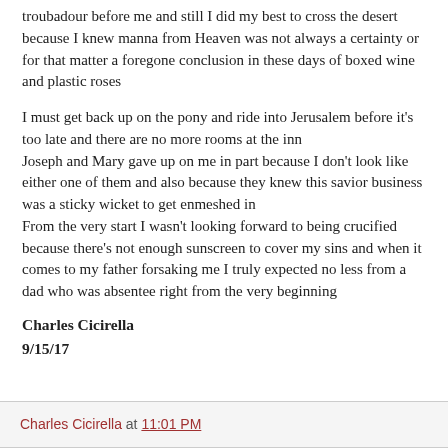troubadour before me and still I did my best to cross the desert because I knew manna from Heaven was not always a certainty or for that matter a foregone conclusion in these days of boxed wine and plastic roses
I must get back up on the pony and ride into Jerusalem before it’s too late and there are no more rooms at the inn
Joseph and Mary gave up on me in part because I don’t look like either one of them and also because they knew this savior business was a sticky wicket to get enmeshed in
From the very start I wasn’t looking forward to being crucified because there’s not enough sunscreen to cover my sins and when it comes to my father forsaking me I truly expected no less from a dad who was absentee right from the very beginning
Charles Cicirella
9/15/17
Charles Cicirella at 11:01 PM